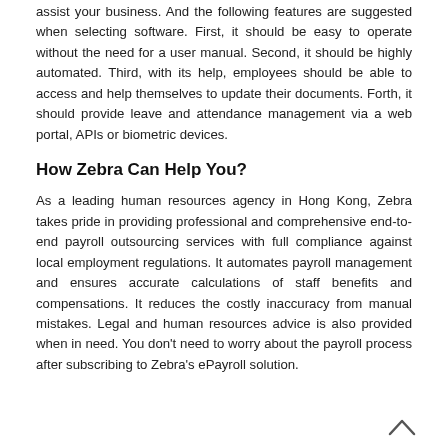assist your business. And the following features are suggested when selecting software. First, it should be easy to operate without the need for a user manual. Second, it should be highly automated. Third, with its help, employees should be able to access and help themselves to update their documents. Forth, it should provide leave and attendance management via a web portal, APIs or biometric devices.
How Zebra Can Help You?
As a leading human resources agency in Hong Kong, Zebra takes pride in providing professional and comprehensive end-to-end payroll outsourcing services with full compliance against local employment regulations. It automates payroll management and ensures accurate calculations of staff benefits and compensations. It reduces the costly inaccuracy from manual mistakes. Legal and human resources advice is also provided when in need. You don't need to worry about the payroll process after subscribing to Zebra's ePayroll solution.